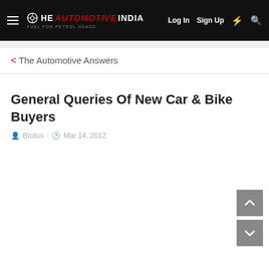≡  ⊙HE AUTOMOTIVE INDIA  FUEL FOR PETROL HEADS   Log In   Sign Up   ⚡   🔍
< The Automotive Answers
General Queries Of New Car & Bike Buyers
Brutus · Mar 14, 2012